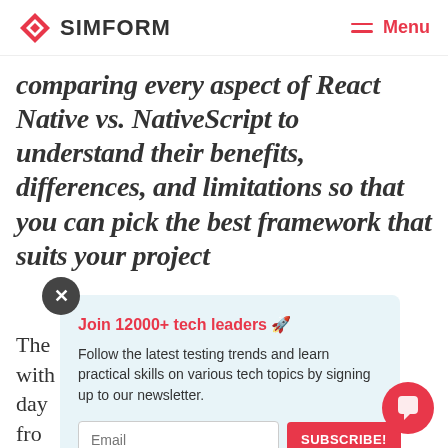SIMFORM | Menu
comparing every aspect of React Native vs. NativeScript to understand their benefits, differences, and limitations so that you can pick the best framework that suits your project
[Figure (other): Newsletter signup popup with close button, title 'Join 12000+ tech leaders 🚀', body text, email input and subscribe button]
The... usly, with... very day... hoose from... on mak... c the... as for a